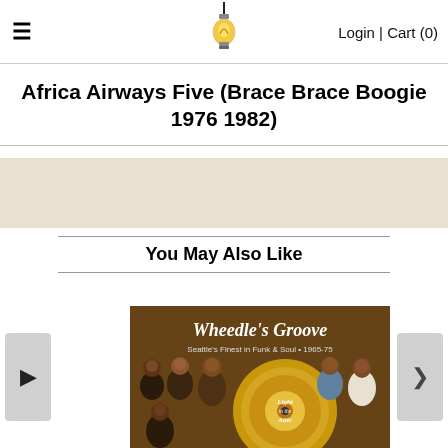≡   [lightbulb logo]   Login | Cart (0)
Africa Airways Five (Brace Brace Boogie 1976 1982)
[Figure (other): Beige/tan background band]
You May Also Like
[Figure (illustration): Album cover: Wheedle's Groove — Seattle's Finest in Funk & Soul • 1965-75, Light in the Attic label, with illustrated portraits of musicians on brown background with a gold vinyl record]